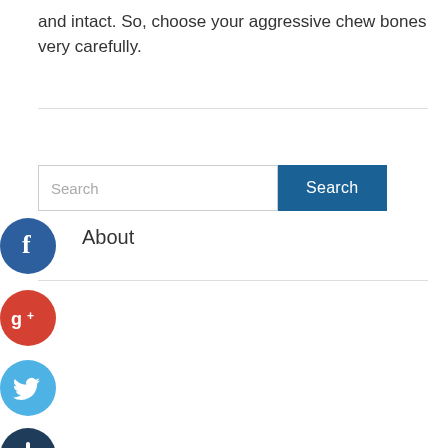and intact. So, choose your aggressive chew bones very carefully.
[Figure (screenshot): Search bar with text input field showing placeholder 'Search' and a blue 'Search' button]
About
[Figure (infographic): Social media share buttons: Facebook (blue circle with f), Google+ (red circle with g+), Twitter (light blue circle with bird), and a dark blue circle with plus sign]